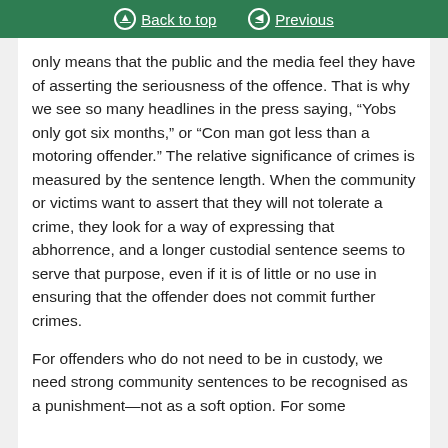Back to top | Previous
only means that the public and the media feel they have of asserting the seriousness of the offence. That is why we see so many headlines in the press saying, “Yobs only got six months,” or “Con man got less than a motoring offender.” The relative significance of crimes is measured by the sentence length. When the community or victims want to assert that they will not tolerate a crime, they look for a way of expressing that abhorrence, and a longer custodial sentence seems to serve that purpose, even if it is of little or no use in ensuring that the offender does not commit further crimes.
For offenders who do not need to be in custody, we need strong community sentences to be recognised as a punishment—not as a soft option. For some